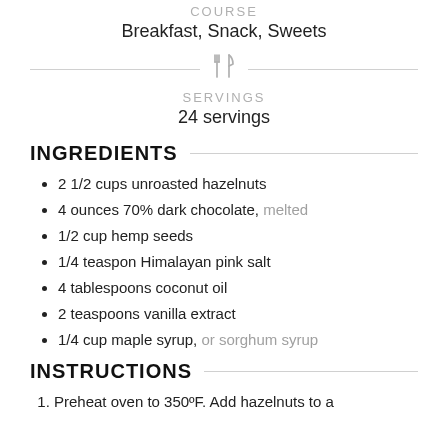COURSE
Breakfast, Snack, Sweets
SERVINGS
24 servings
INGREDIENTS
2 1/2 cups unroasted hazelnuts
4 ounces 70% dark chocolate, melted
1/2 cup hemp seeds
1/4 teaspon Himalayan pink salt
4 tablespoons coconut oil
2 teaspoons vanilla extract
1/4 cup maple syrup, or sorghum syrup
INSTRUCTIONS
Preheat oven to 350ºF. Add hazelnuts to a